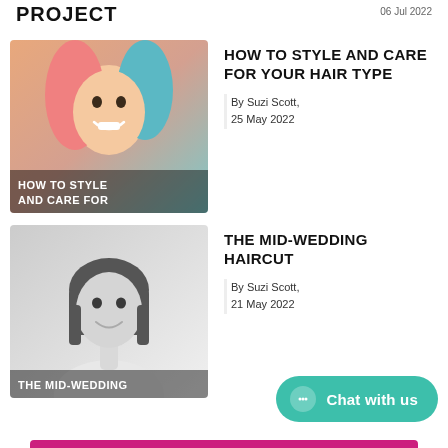PROJECT   06 Jul 2022
[Figure (photo): Young woman with pink and blue dyed hair smiling, with overlay text 'HOW TO STYLE AND CARE FOR']
HOW TO STYLE AND CARE FOR YOUR HAIR TYPE
By Suzi Scott,
25 May 2022
[Figure (photo): Black and white photo of a woman with a bob haircut smiling, with overlay text 'THE MID-WEDDING']
THE MID-WEDDING HAIRCUT
By Suzi Scott,
21 May 2022
Chat with us